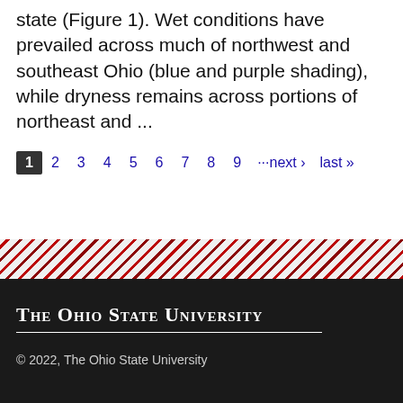start. August has varied widely across the state (Figure 1). Wet conditions have prevailed across much of northwest and southeast Ohio (blue and purple shading), while dryness remains across portions of northeast and ...
1  2  3  4  5  6  7  8  9  ···next ›  last »
The Ohio State University
© 2022, The Ohio State University